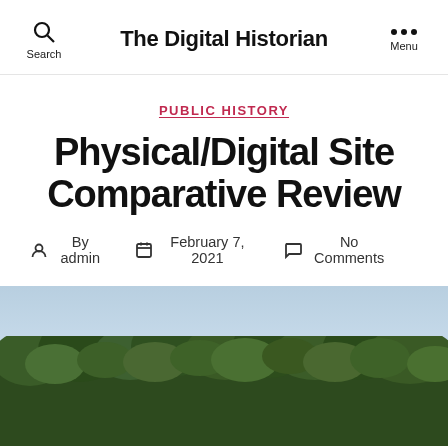The Digital Historian
PUBLIC HISTORY
Physical/Digital Site Comparative Review
By admin   February 7, 2021   No Comments
[Figure (photo): Outdoor landscape photo showing dense green trees against a light blue sky, partially visible at the bottom of the page]